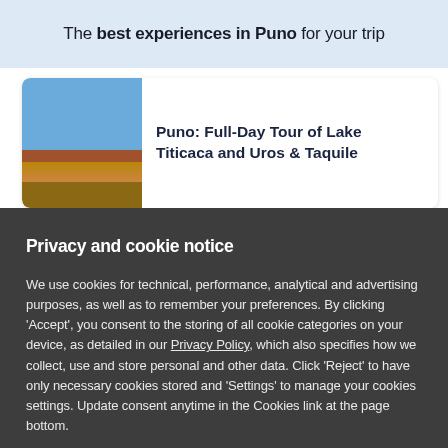The best experiences in Puno for your trip
Puno: Full-Day Tour of Lake Titicaca and Uros & Taquile
Privacy and cookie notice
We use cookies for technical, performance, analytical and advertising purposes, as well as to remember your preferences. By clicking 'Accept', you consent to the storing of all cookie categories on your device, as detailed in our Privacy Policy, which also specifies how we collect, use and store personal and other data. Click 'Reject' to have only necessary cookies stored and 'Settings' to manage your cookies settings. Update consent anytime in the Cookies link at the page bottom.
Settings | Reject | Accept